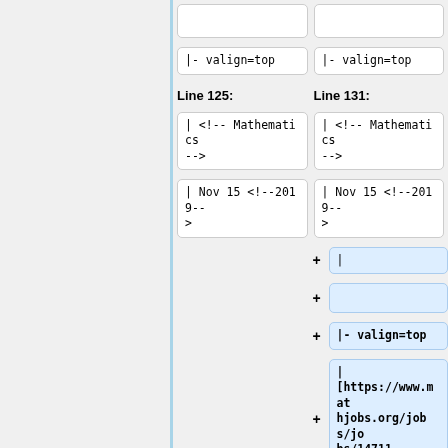[Figure (screenshot): Code diff view showing two columns: Line 125 (left) and Line 131 (right). Each column shows code blocks with wiki markup content. The right column has additional added lines (highlighted in blue) including '|', empty block, '|- valign=top', and '| [https://www.mathjobs.org/jobs/jobs/14711 Gettysburg]*', '| <!-- Mathematics -->'.]
|- valign=top
Line 125:
Line 131:
| <!-- Mathematics -->
| Nov 15 <!--2019-->
| <!-- Mathematics -->
| Nov 15 <!--2019-->
|
|- valign=top
| [https://www.mathjobs.org/jobs/jobs/14711 Gettysburg]*
| <!-- Mathematics -->